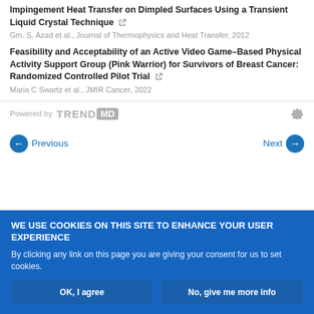Impingement Heat Transfer on Dimpled Surfaces Using a Transient Liquid Crystal Technique
Gm. S. Azad et al., Journal of Thermophysics and Heat Transfer, 2012
Feasibility and Acceptability of an Active Video Game–Based Physical Activity Support Group (Pink Warrior) for Survivors of Breast Cancer: Randomized Controlled Pilot Trial
Maria C Swartz et al., JMIR Cancer, 2022
Powered by TREND MD
Previous
Next
WE USE COOKIES ON THIS SITE TO ENHANCE YOUR USER EXPERIENCE
By clicking any link on this page you are giving your consent for us to set cookies.
OK, I agree
No, give me more info